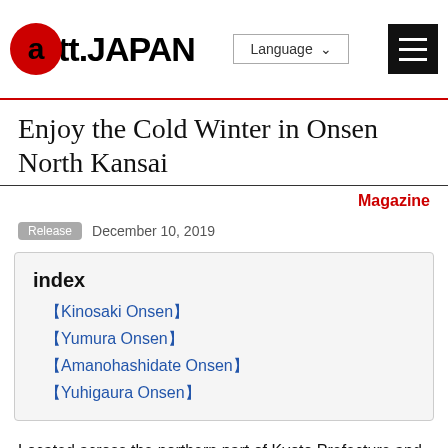att.JAPAN | Language | (hamburger menu)
Enjoy the Cold Winter in Onsen North Kansai
Magazine
Release  December 10, 2019
【Kinosaki Onsen】
【Yumura Onsen】
【Amanohashidate Onsen】
【Yuhigaura Onsen】
Located across the northern part of Kyoto Prefecture and the